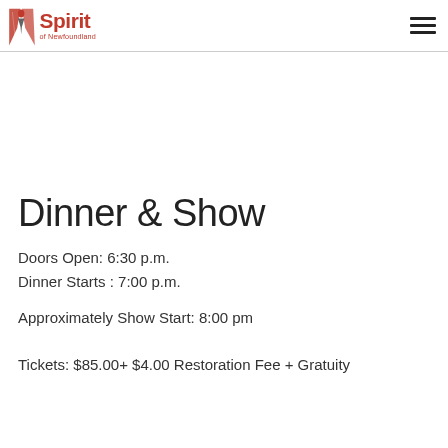Spirit of Newfoundland
Dinner & Show
Doors Open: 6:30 p.m.
Dinner Starts : 7:00 p.m.
Approximately Show Start: 8:00 pm
Tickets: $85.00+ $4.00 Restoration Fee + Gratuity